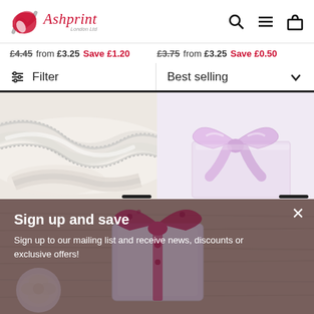[Figure (logo): Ashprint London Ltd logo — red and grey circular swirl icon with italic red script 'Ashprint' and small grey 'London Ltd' subtitle]
£4.45  from £3.25  Save £1.20    £3.75  from £3.25  Save £0.50
Filter   Best selling
[Figure (photo): White satin ribbon with silver edge coiled on a white background]
[Figure (photo): Pink satin ribbon tied in a bow on a pink gift box]
Sign up and save
Sign up to our mailing list and receive news, discounts or exclusive offers!
[Figure (photo): Background image of pink and white gift box with patterned pink ribbon bow on rustic wood surface with roses]